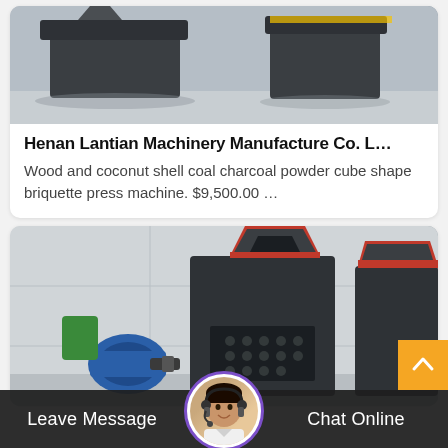[Figure (photo): Industrial briquette press machine, dark metal body, on grey floor background — top portion of product card]
Henan Lantian Machinery Manufacture Co. L…
Wood and coconut shell coal charcoal powder cube shape briquette press machine. $9,500.00 …
[Figure (photo): Industrial briquette press machine with blue motor, red-accented hopper, ball-roller die, in factory/warehouse — second product card image]
Leave Message   Chat Online